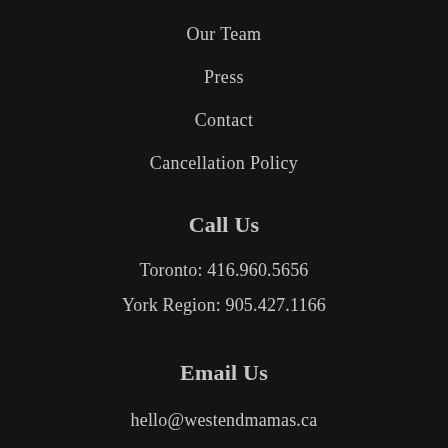Our Team
Press
Contact
Cancellation Policy
Call Us
Toronto: 416.960.5656
York Region: 905.427.1166
Email Us
hello@westendmamas.ca